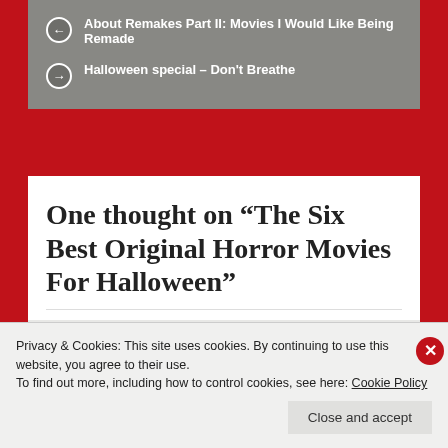← About Remakes Part II: Movies I Would Like Being Remade
→ Halloween special – Don't Breathe
One thought on “The Six Best Original Horror Movies For Halloween”
Pingback: Halloween special – Don't Breathe
Privacy & Cookies: This site uses cookies. By continuing to use this website, you agree to their use.
To find out more, including how to control cookies, see here: Cookie Policy
Close and accept